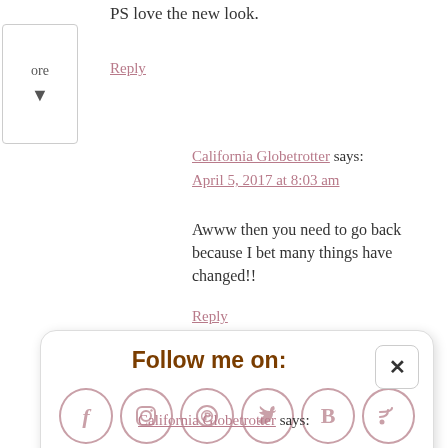PS love the new look.
Reply
California Globetrotter says:
April 5, 2017 at 8:03 am
Awww then you need to go back because I bet many things have changed!!
Reply
[Figure (infographic): Follow me on social media popup with Facebook, Instagram, Pinterest, Twitter, Bloglovin, RSS icons, newsletter signup bar with Subscribe input and Sign Up button, and a close button.]
California Globetrotter says: